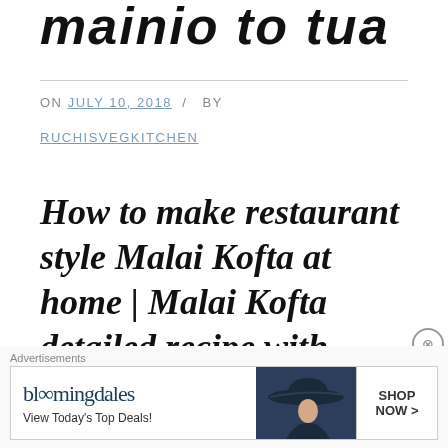mainio no uni
ON JULY 10, 2018 / BY RUCHISVEGKITCHEN
How to make restaurant style Malai Kofta at home | Malai Kofta detailed recipe with
[Figure (illustration): Bloomingdale's advertisement banner showing logo, 'View Today's Top Deals!' tagline, woman with wide-brim hat, and 'SHOP NOW >' call to action button]